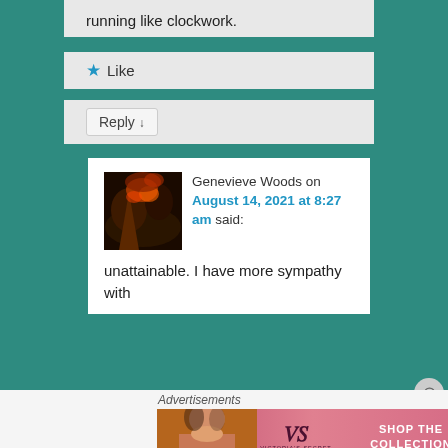running like clockwork.
★ Like
Reply ↓
[Figure (photo): Avatar thumbnail showing a dark landscape with fire/smoke, used as a commenter profile picture for Genevieve Woods]
Genevieve Woods on August 14, 2021 at 8:27 am said:
unattainable. I have more sympathy with
Advertisements
[Figure (photo): Victoria's Secret advertisement banner featuring a model, the VS logo, text SHOP THE COLLECTION, and a SHOP NOW button]